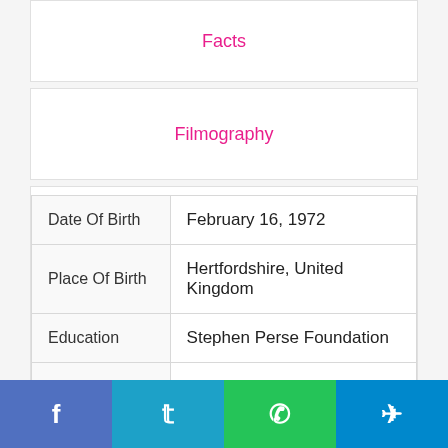Facts
Filmography
| Date Of Birth | February 16, 1972 |
| Place Of Birth | Hertfordshire, United Kingdom |
| Education | Stephen Perse Foundation |
| Spouse | Phil Churchward (m. 2007) |